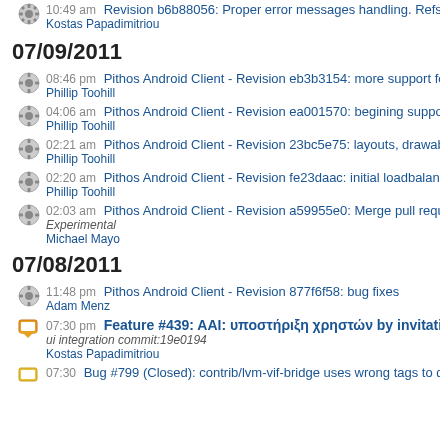10:49 am Revision b6b88056: Proper error messages handling. Refs. #43
Kostas Papadimitriou
07/09/2011
08:46 pm Pithos Android Client - Revision eb3b3154: more support for the
Phillip Toohill
04:06 am Pithos Android Client - Revision ea001570: begining support for
Phillip Toohill
02:21 am Pithos Android Client - Revision 23bc5e75: layouts, drawables, a
Phillip Toohill
02:20 am Pithos Android Client - Revision fe23daac: initial loadbalancer su
Phillip Toohill
02:03 am Pithos Android Client - Revision a59955e0: Merge pull request #
Experimental
Michael Mayo
07/08/2011
11:48 pm Pithos Android Client - Revision 877f6f58: bug fixes
Adam Menz
07:30 pm Feature #439: AAI: υποστήριξη χρηστών by invitation
ui integration commit:19e0194
Kostas Papadimitriou
Bug #799 (Closed): contrib/lvm-vif-bridge uses wrong tags to d...